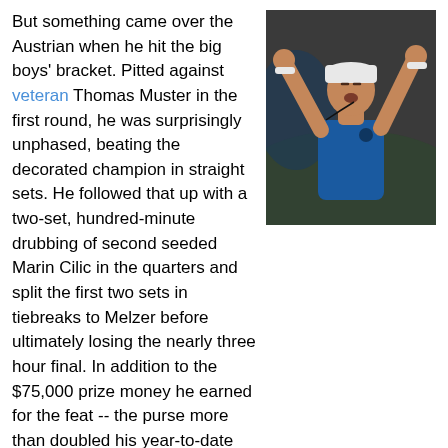But something came over the Austrian when he hit the big boys' bracket. Pitted against veteran Thomas Muster in the first round, he was surprisingly unphased, beating the decorated champion in straight sets. He followed that up with a two-set, hundred-minute drubbing of second seeded Marin Cilic in the quarters and split the first two sets in tiebreaks to Melzer before ultimately losing the nearly three hour final. In addition to the $75,000 prize money he earned for the feat -- the purse more than doubled his year-to-date earnings -- he jumped forty two spots in the rankings and certainly put his name on the map as a real spoiler. Not bad for a week's work.
[Figure (photo): Tennis player in blue shirt celebrating with fists raised, wearing white cap and wristbands]
Over in St. Petersburg the top seed didn't fair quite as well in the finals. Mikhail Youzhny, the champion in 2004, was trying to caputre his third title of the year, but he was tested at almost every step along the way. He was down sets to both qualifier Evgeny Donskoy and eighth seed Victor Hanescu and saved several match points against a recurgent Dmitry